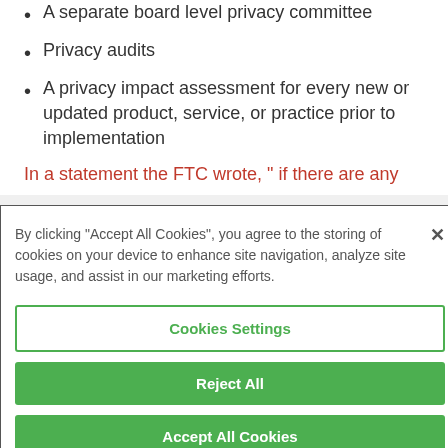A separate board level privacy committee
Privacy audits
A privacy impact assessment for every new or updated product, service, or practice prior to implementation
In a statement the FTC wrote, “  if there are any
By clicking “Accept All Cookies”, you agree to the storing of cookies on your device to enhance site navigation, analyze site usage, and assist in our marketing efforts.
Cookies Settings
Reject All
Accept All Cookies